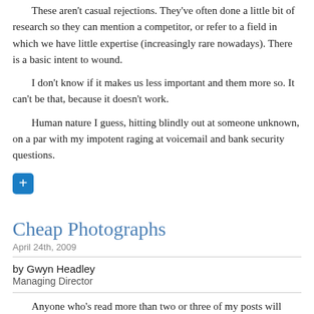These aren't casual rejections. They've often done a little bit of research so they can mention a competitor, or refer to a field in which we have little expertise (increasingly rare nowadays). There is a basic intent to wound.

I don't know if it makes us less important and them more so. It can't be that, because it doesn't work.

Human nature I guess, hitting blindly out at someone unknown, on a par with my impotent raging at voicemail and bank security questions.
[Figure (other): Blue rounded square button with a white plus (+) sign]
Cheap Photographs
April 24th, 2009
by Gwyn Headley
Managing Director
Anyone who's read more than two or three of my posts will know what I think of the microstock system. There always has to be a loser, and in the case of microstock the loser is the creator, the artist — that is to say, the photographer. But as a responsible company we have to evaluate the business model